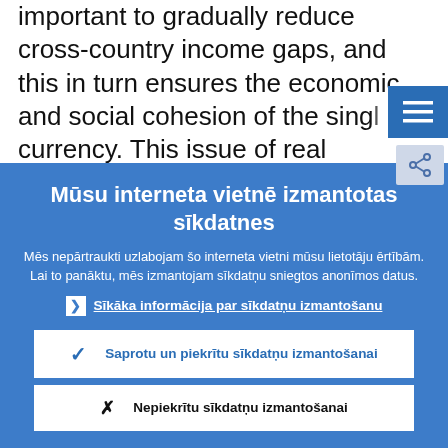important to gradually reduce cross-country income gaps, and this in turn ensures the economic and social cohesion of the single currency. This issue of real convergence is
Mūsu interneta vietnē izmantotas sīkdatnes
Mēs nepārtraukti uzlabojam šo interneta vietni mūsu lietotāju ērtībām. Lai to panāktu, mēs izmantojam sīkdatņu sniegtos anonīmos datus.
▶ Sīkāka informācija par sīkdatņu izmantošanu
✓ Saprotu un piekrītu sīkdatņu izmantošanai
✗ Nepiekrītu sīkdatņu izmantošanai